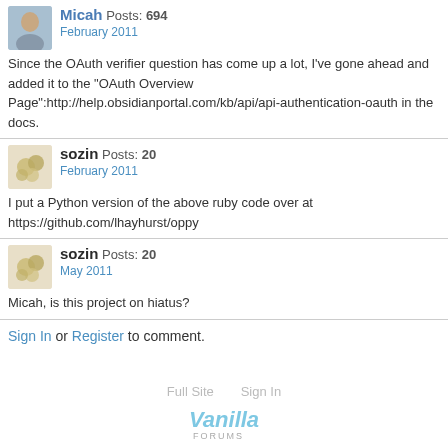Micah Posts: 694
February 2011
Since the OAuth verifier question has come up a lot, I've gone ahead and added it to the "OAuth Overview Page":http://help.obsidianportal.com/kb/api/api-authentication-oauth in the docs.
sozin Posts: 20
February 2011
I put a Python version of the above ruby code over at https://github.com/lhayhurst/oppy
sozin Posts: 20
May 2011
Micah, is this project on hiatus?
Sign In or Register to comment.
Full Site   Sign In